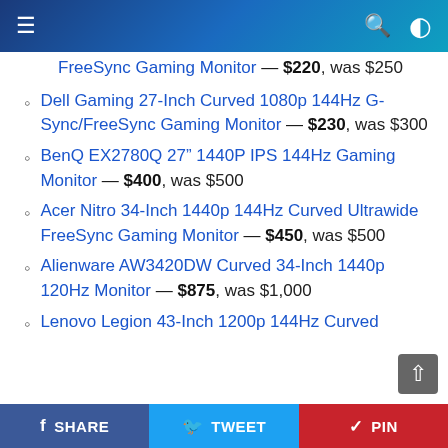☰ (menu) | 🔍 (search) | 🌙 (dark mode)
FreeSync Gaming Monitor — $220, was $250
Dell Gaming 27-Inch Curved 1080p 144Hz G-Sync/FreeSync Gaming Monitor — $230, was $300
BenQ EX2780Q 27" 1440P IPS 144Hz Gaming Monitor — $400, was $500
Acer Nitro 34-Inch 1440p 144Hz Curved Ultrawide FreeSync Gaming Monitor — $450, was $500
Alienware AW3420DW Curved 34-Inch 1440p 120Hz Monitor — $875, was $1,000
Lenovo Legion 43-Inch 1200p 144Hz Curved
f SHARE | 🐦 TWEET | ♥ PIN